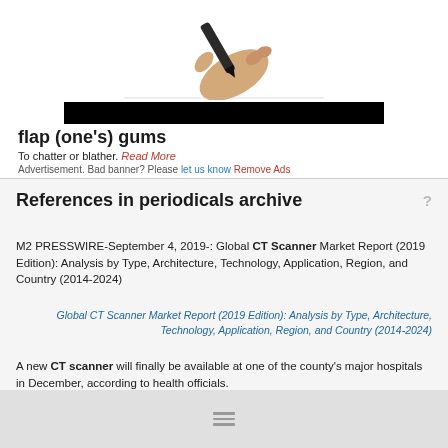[Figure (illustration): Hand holding a pen/marker, drawing or writing, cartoon-style illustration at the top of the page]
flap (one's) gums
To chatter or blather. Read More
Advertisement. Bad banner? Please let us know Remove Ads
References in periodicals archive
M2 PRESSWIRE-September 4, 2019-: Global CT Scanner Market Report (2019 Edition): Analysis by Type, Architecture, Technology, Application, Region, and Country (2014-2024)
Global CT Scanner Market Report (2019 Edition): Analysis by Type, Architecture, Technology, Application, Region, and Country (2014-2024)
A new CT scanner will finally be available at one of the county's major hospitals in December, according to health officials.
Health chiefs set date for new hospital CT scanner to 'go live'